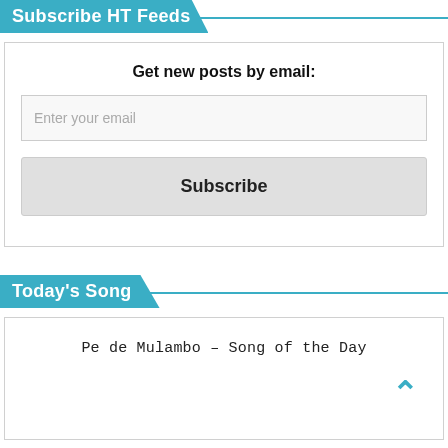Subscribe HT Feeds
Get new posts by email:
Enter your email
Subscribe
Today's Song
Pe de Mulambo – Song of the Day